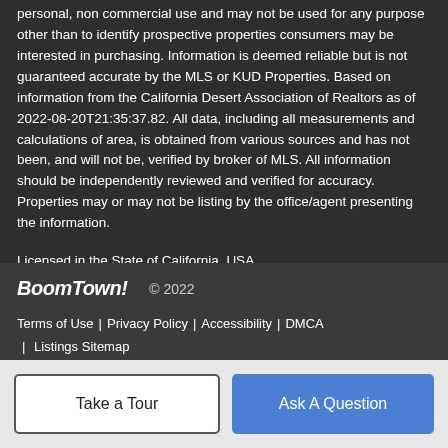personal, non commercial use and may not be used for any purpose other than to identify prospective properties consumers may be interested in purchasing. Information is deemed reliable but is not guaranteed accurate by the MLS or KUD Properties. Based on information from the California Desert Association of Realtors as of 2022-08-20T21:35:37.82. All data, including all measurements and calculations of area, is obtained from various sources and has not been, and will not be, verified by broker of MLS. All information should be independently reviewed and verified for accuracy. Properties may or may not be listing by the office/agent presenting the information.
Licensed in the State of California, USA
BoomTown! © 2022 | Terms of Use | Privacy Policy | Accessibility | DMCA | Listings Sitemap
Take a Tour
Ask A Question